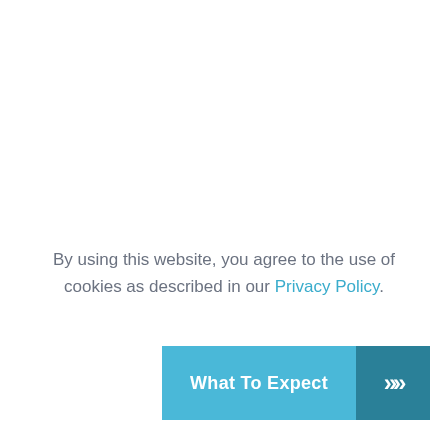By using this website, you agree to the use of cookies as described in our Privacy Policy.
What To Expect >>